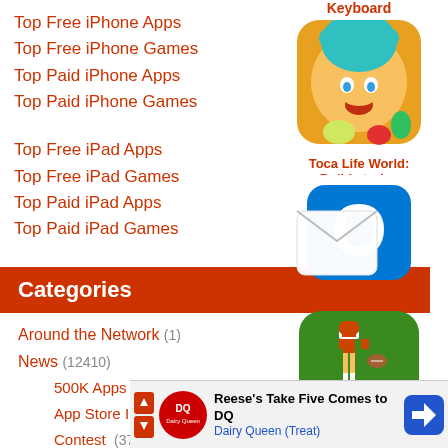Top Free iPhone Apps
Top Free iPhone Games
Top Paid iPhone Apps
Top Paid iPhone Games
Top Free iPad Apps
Top Free iPad Games
Top Paid iPad Apps
Top Paid iPad Games
Categories
Around the Network (1)
News (12410)
500K Apps (8)
App Store Insiders (139)
Contest (37)
Editor's Corner (67)
Favorite 4 (125)
First Looks (513)
FrEEday (42)
Friday
Guide
[Figure (illustration): Keyboard app icon (partially visible at top)]
Keyboard
[Figure (illustration): Toca Life World app icon - cartoon character with teal hair]
Toca Life World: Build stories
[Figure (illustration): Microsoft Outlook app icon - blue envelope with O]
Microsoft Outlook
[Figure (illustration): Retro Bowl app icon - pixel art football player on green background]
Retro Bowl
[Figure (illustration): App icon partially visible at bottom right - red and blue balls]
asters:
[Figure (screenshot): Ad banner: Reese's Take Five Comes to DQ - Dairy Queen (Treat) with navigation arrow icon]